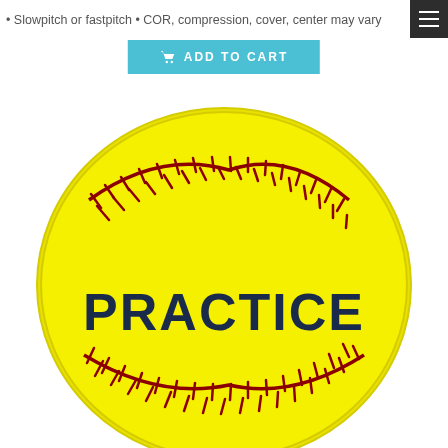• Slowpitch or fastpitch • COR, compression, cover, center may vary
[Figure (other): Blue 'Add to Cart' button with shopping cart icon]
[Figure (illustration): Yellow softball with red stitching and the word PRACTICE printed in dark navy bold text across the center]